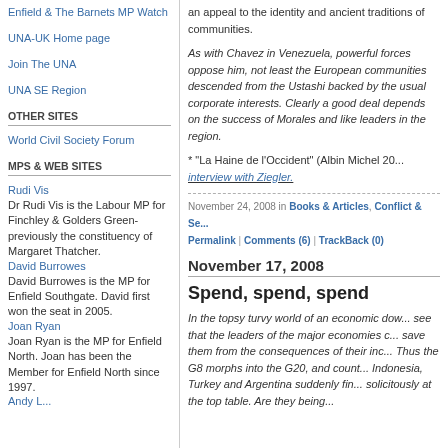Enfield & The Barnets MP Watch
UNA-UK Home page
Join The UNA
UNA SE Region
OTHER SITES
World Civil Society Forum
MPS & WEB SITES
Rudi Vis
Dr Rudi Vis is the Labour MP for Finchley & Golders Green- previously the constituency of Margaret Thatcher.
David Burrowes
David Burrowes is the MP for Enfield Southgate. David first won the seat in 2005.
Joan Ryan
Joan Ryan is the MP for Enfield North. Joan has been the Member for Enfield North since 1997.
an appeal to the identity and ancient traditions of communities.
As with Chavez in Venezuela, powerful forces oppose him, not least the European communities descended from the Ustashi backed by the usual corporate interests. Clearly a good deal depends on the success of Morales and like leaders in the region.
* "La Haine de l'Occident" (Albin Michel 20... interview with Ziegler.
November 24, 2008 in Books & Articles, Conflict & Se... Permalink | Comments (6) | TrackBack (0)
November 17, 2008
Spend, spend, spend
In the topsy turvy world of an economic dow... see that the leaders of the major economies c... save them from the consequences of their inc... Thus the G8 morphs into the G20, and count... Indonesia, Turkey and Argentina suddenly fin... solicitously at the top table. Are they being...